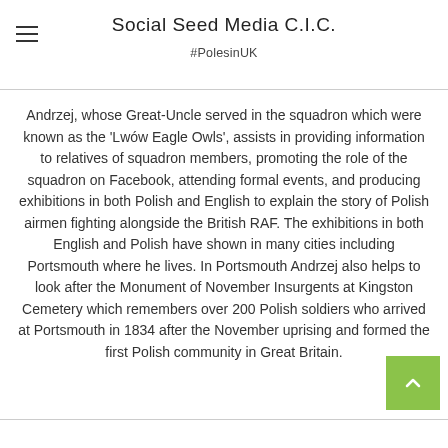Social Seed Media C.I.C. #PolesinUK
Andrzej, whose Great-Uncle served in the squadron which were known as the 'Lwów Eagle Owls', assists in providing information to relatives of squadron members, promoting the role of the squadron on Facebook, attending formal events, and producing exhibitions in both Polish and English to explain the story of Polish airmen fighting alongside the British RAF. The exhibitions in both English and Polish have shown in many cities including Portsmouth where he lives. In Portsmouth Andrzej also helps to look after the Monument of November Insurgents at Kingston Cemetery which remembers over 200 Polish soldiers who arrived at Portsmouth in 1834 after the November uprising and formed the first Polish community in Great Britain.